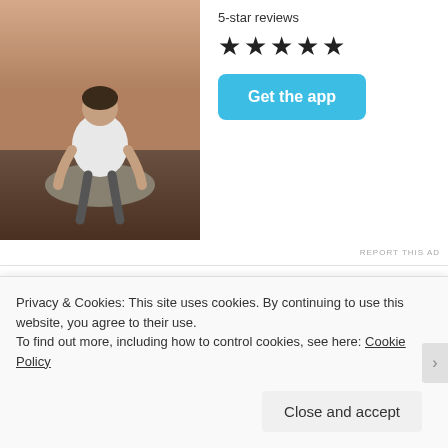[Figure (photo): Photo of a person sitting on rocks with back to camera, wearing white shirt, outdoor setting]
5-star reviews
★★★★★
Get the app
REPORT THIS AD
JANUARY 23, 2014
AFFECTION, FRIENDS WITH BENEFITS, INTIMACY, MEN, RELATIONSHIPS, SEX, WANTING MORE, WOMEN
3 COMMENTS
Privacy & Cookies: This site uses cookies. By continuing to use this website, you agree to their use.
To find out more, including how to control cookies, see here: Cookie Policy
Close and accept